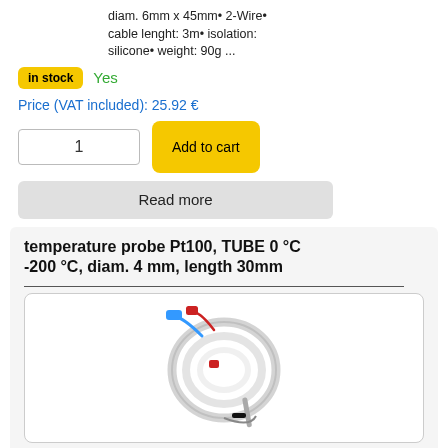diam. 6mm x 45mm• 2-Wire• cable lenght: 3m• isolation: silicone• weight: 90g ...
in stock   Yes
Price (VAT included): 25.92 €
1
Add to cart
Read more
temperature probe Pt100, TUBE 0 °C -200 °C, diam. 4 mm, length 30mm
[Figure (photo): Photo of a Pt100 temperature probe with a coiled metal tube and colored wire connectors (blue and red)]
Product   PP30-4-200